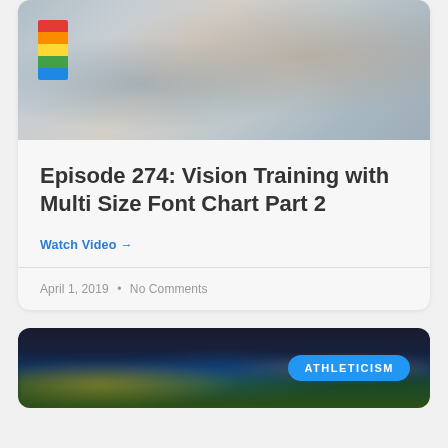[Figure (photo): Person holding a smartphone close to their face, with bookshelves visible in the background]
Episode 274: Vision Training with Multi Size Font Chart Part 2
Watch Video →
April 1, 2019  •  No Comments
[Figure (photo): Blurred city lights at night background with an 'ATHLETICISM' badge overlay]